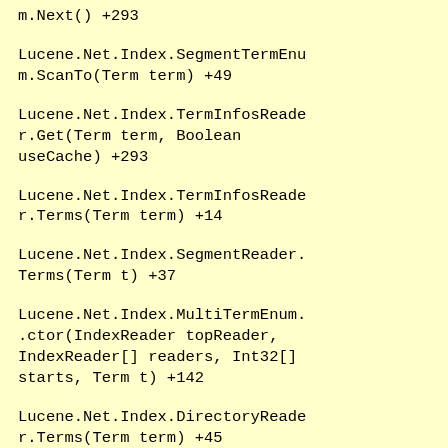m.Next() +293
Lucene.Net.Index.SegmentTermEnum.ScanTo(Term term) +49
Lucene.Net.Index.TermInfosReader.Get(Term term, Boolean useCache) +293
Lucene.Net.Index.TermInfosReader.Terms(Term term) +14
Lucene.Net.Index.SegmentReader.Terms(Term t) +37
Lucene.Net.Index.MultiTermEnum..ctor(IndexReader topReader, IndexReader[] readers, Int32[] starts, Term t) +142
Lucene.Net.Index.DirectoryReader.Terms(Term term) +45
Lucene.Net.Search.WildcardTermEnum..ctor(IndexReader reader,